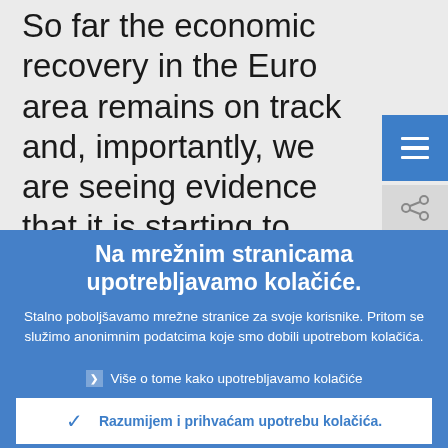So far the economic recovery in the Euro area remains on track and, importantly, we are seeing evidence that it is starting to broaden. Real GDP rose by 0.4% q-o-q in th...
Na mrežnim stranicama upotrebljavamo kolačiće.
Stalno poboljšavamo mrežne stranice za svoje korisnike. Pritom se služimo anonimnim podatcima koje smo dobili upotrebom kolačića.
Više o tome kako upotrebljavamo kolačiće
Razumijem i prihvaćam upotrebu kolačića.
Ne prihvaćam upotrebu kolačića.